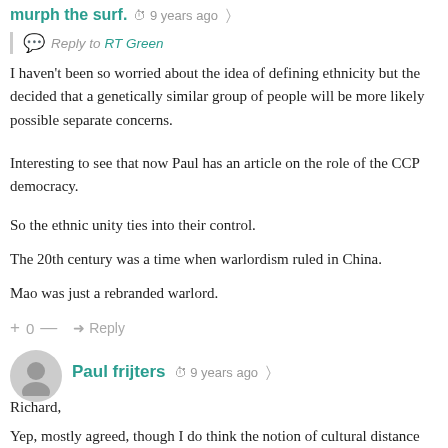murph the surf.  ·  9 years ago  ·  share
Reply to RT Green
I haven't been so worried about the idea of defining ethnicity but the decided that a genetically similar group of people will be more likely possible separate concerns.
Interesting to see that now Paul has an article on the role of the CCP democracy.
So the ethnic unity ties into their control.
The 20th century was a time when warlordism ruled in China.
Mao was just a rebranded warlord.
+ 0 —  →  Reply
[Figure (illustration): User avatar circle with generic person silhouette icon in gray]
Paul frijters  ·  9 years ago  ·  share
Richard,
Yep, mostly agreed, though I do think the notion of cultural distance